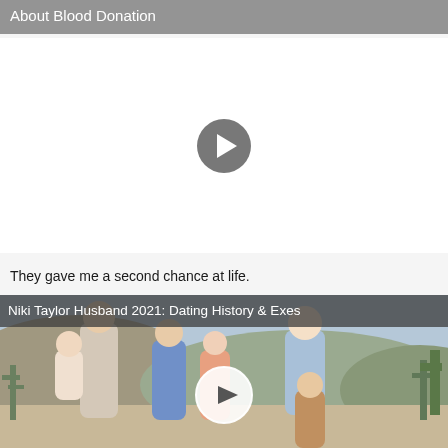About Blood Donation
[Figure (screenshot): Video player with white background and a grey circular play button in the center]
They gave me a second chance at life.
[Figure (photo): Thumbnail image of a family (man, woman, and four children) outdoors in a desert landscape with a play button overlay. Title banner reads: Niki Taylor Husband 2021: Dating History & Exes]